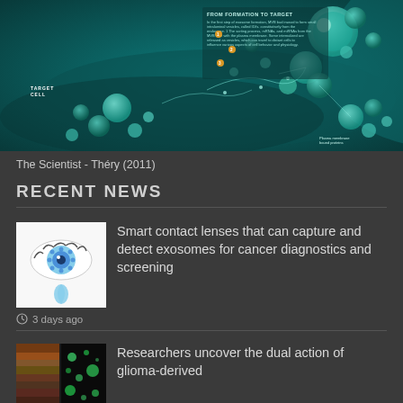[Figure (illustration): Scientific illustration showing exosomes and cellular communication mechanisms with teal/green tones. Shows target cell, exosome formation, and various labeled biological components including proteins. Text visible: 'FROM FORMATION TO TARGET', 'TARGET CELL'. From The Scientist - Théry (2011).]
The Scientist - Théry (2011)
RECENT NEWS
[Figure (illustration): Image of a smart contact lens with a blue eye and a tear drop, representing technology for capturing and detecting exosomes.]
Smart contact lenses that can capture and detect exosomes for cancer diagnostics and screening
3 days ago
[Figure (illustration): Thumbnail image showing layered biological tissue sections and microscopy images related to glioma research.]
Researchers uncover the dual action of glioma-derived